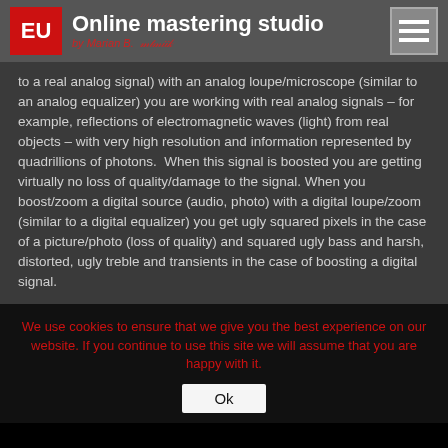Online mastering studio by Marian B. [signature]
to a real analog signal) with an analog loupe/microscope (similar to an analog equalizer) you are working with real analog signals – for example, reflections of electromagnetic waves (light) from real objects – with very high resolution and information represented by quadrillions of photons.  When this signal is boosted you are getting virtually no loss of quality/damage to the signal. When you boost/zoom a digital source (audio, photo) with a digital loupe/zoom (similar to a digital equalizer) you get ugly squared pixels in the case of a picture/photo (loss of quality) and squared ugly bass and harsh, distorted, ugly treble and transients in the case of boosting a digital signal.
We use cookies to ensure that we give you the best experience on our website. If you continue to use this site we will assume that you are happy with it.
Ok